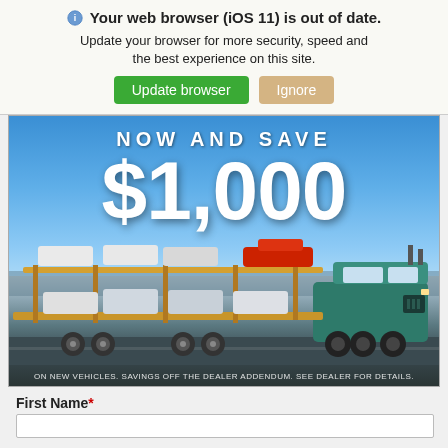Your web browser (iOS 11) is out of date. Update your browser for more security, speed and the best experience on this site. [Update browser] [Ignore]
[Figure (infographic): Car carrier truck advertisement showing 'NOW AND SAVE $1,000' on new vehicles with a car transport truck carrying multiple vehicles including a red sports car on top. Blue sky background. Disclaimer: ON NEW VEHICLES. SAVINGS OFF THE DEALER ADDENDUM. SEE DEALER FOR DETAILS.]
First Name*